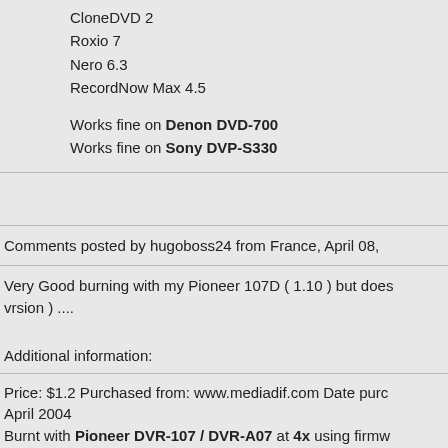CloneDVD 2
Roxio 7
Nero 6.3
RecordNow Max 4.5
Works fine on Denon DVD-700
Works fine on Sony DVP-S330
Comments posted by hugoboss24 from France, April 08,
Very Good burning with my Pioneer 107D ( 1.10 ) but does vrsion ) ....
Additional information:
Price: $1.2 Purchased from: www.mediadif.com Date puro April 2004
Burnt with Pioneer DVR-107 / DVR-A07 at 4x using firmw